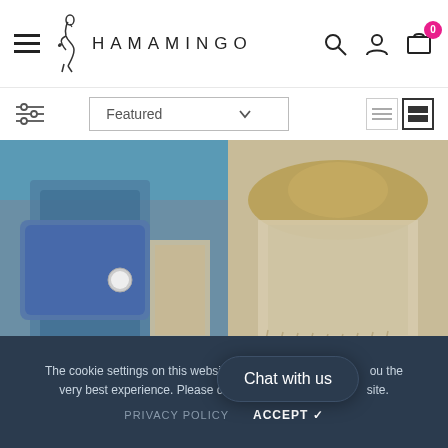HAMAMINGO
Featured
[Figure (photo): Product photo of Trocadero Towel Denim Blue & Beige - person sitting wearing blue knit]
ADD TO CART
Trocadero Towel Denim Blue & Beige
£54.99
[Figure (photo): Product photo of Narnia Silver Grey - person with hat and light fringe wrap]
ADD TO CART
Narnia Silver Grey
£39.99
The cookie settings on this website are set to 'allow' to give you the very best experience. Please click Accept Cookies to continue to use the site.
PRIVACY POLICY
ACCEPT ✓
Chat with us